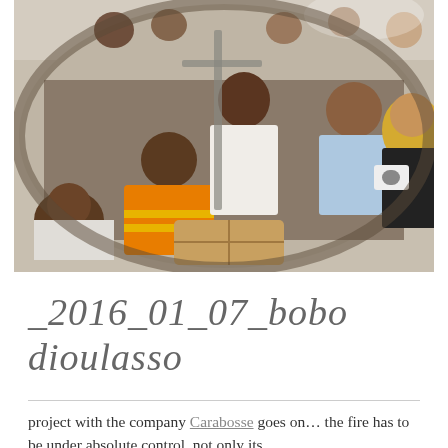[Figure (photo): People sitting inside a bus or vehicle, viewed through a rear-view mirror reflection. Several passengers are visible including a person in an orange safety vest and a blonde woman holding a camera. The scene appears to be in West Africa.]
_2016_01_07_bobo dioulasso
project with the company Carabosse goes on... the fire has to be under absolute control, not only its